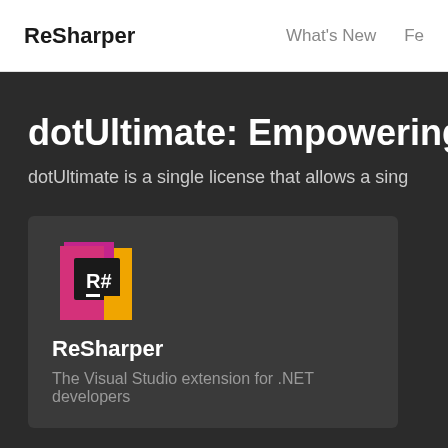ReSharper   What's New   Fe
dotUltimate: Empowering Your .N
dotUltimate is a single license that allows a sing
[Figure (logo): ReSharper logo: pink/magenta and yellow geometric shapes with R# text on black background]
ReSharper
The Visual Studio extension for .NET developers